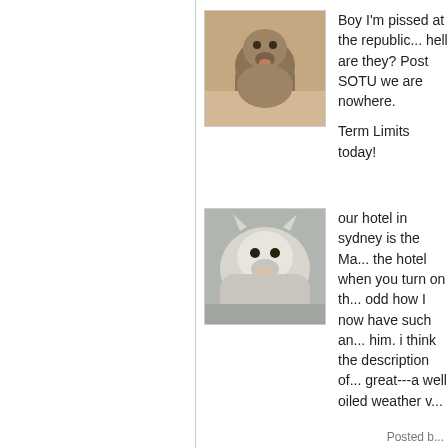[Figure (photo): Small avatar photo of a dog/puppy in sand]
Boy I'm pissed at the republicans, where the hell are they? Post SOTU we are nowhere.

Term Limits today!
[Figure (photo): Small avatar photo of a husky or wolf-like dog]
our hotel in sydney is the Ma... the hotel when you turn on th... odd how I now have such an... him. i think the description of... great---a well oiled weather v...
[Figure (photo): Small avatar image of a red X / cross flag on white background]
I've been spending my JOM t... watching some excellent doc... linked below are in some way... content is impressive; if y'all a...
https://m.youtube.com/cha...
Posted b...